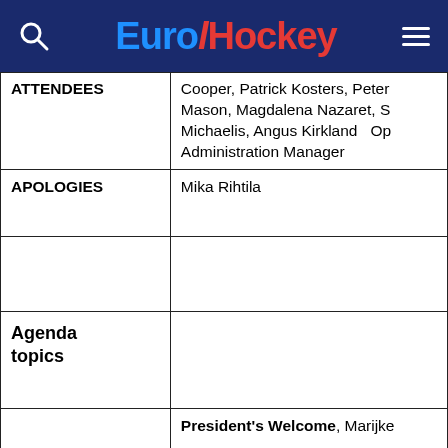EuroHockey
| Label | Content |
| --- | --- |
| ATTENDEES | Cooper, Patrick Kosters, Peter Mason, Magdalena Nazaret, S Michaelis, Angus Kirkland  Op Administration Manager |
| APOLOGIES | Mika Rihtila |
|  |  |
| Agenda topics |  |
|  | President's Welcome, Marijke |
|  | The President welcomed every especially Magda and Sabina their first meeting in the EHF C |